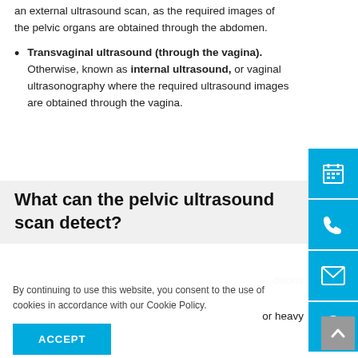an external ultrasound scan, as the required images of the pelvic organs are obtained through the abdomen.
Transvaginal ultrasound (through the vagina). Otherwise, known as internal ultrasound, or vaginal ultrasonography where the required ultrasound images are obtained through the vagina.
What can the pelvic ultrasound scan detect?
ditions
By continuing to use this website, you consent to the use of cookies in accordance with our Cookie Policy.
ACCEPT
or heavy